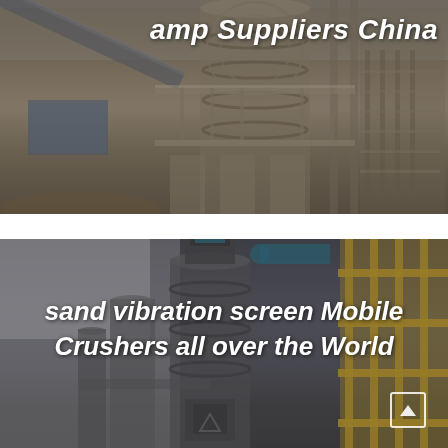[Figure (photo): Industrial crusher/mill facility interior showing large cylindrical equipment, conveyor belts, metal staircases, and structural steel framework in a warehouse setting. Dark industrial tones.]
amp Suppliers China
[Figure (photo): Industrial grinding/milling machine with cylindrical vertical mill equipment in a factory setting, metal pipework, and yellow safety railings visible in background.]
sand vibration screen Mobile Crushers all over the World